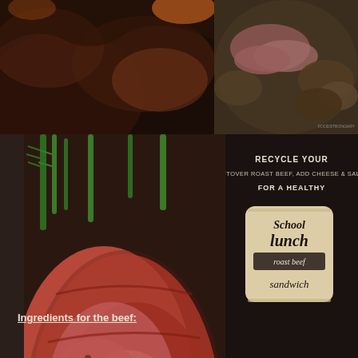[Figure (photo): Dark food photography collage: top-left shows roasted meat close-up on dark background, top-right shows sliced beef/steak with mushrooms, main left shows sliced roast beef with herbs and rosemary, right panel shows dark board with text about school lunch roast beef sandwich, sandwich with greens and tomatoes]
RECYCLE YOUR
LEFTOVER ROAST BEEF, ADD CHEESE & SALAD
FOR A HEALTHY
School
lunch
roast beef
sandwich
Ingredients for the beef: